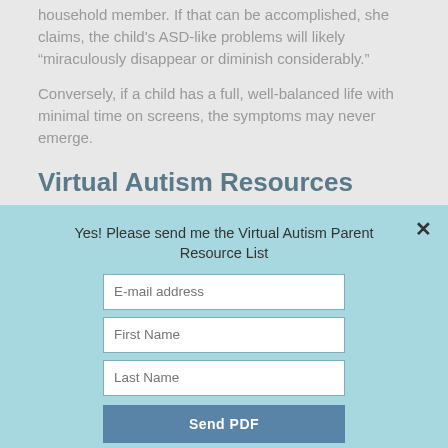household member. If that can be accomplished, she claims, the child's ASD-like problems will likely “miraculously disappear or diminish considerably.”
Conversely, if a child has a full, well-balanced life with minimal time on screens, the symptoms may never emerge.
Virtual Autism Resources
Yes! Please send me the Virtual Autism Parent Resource List
E-mail address
First Name
Last Name
Send PDF